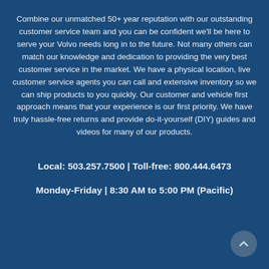Combine our unmatched 50+ year reputation with our outstanding customer service team and you can be confident we'll be here to serve your Volvo needs long in to the future. Not many others can match our knowledge and dedication to providing the very best customer service in the market. We have a physical location, live customer service agents you can call and extensive inventory so we can ship products to you quickly. Our customer and vehicle first approach means that your experience is our first priority. We have truly hassle-free returns and provide do-it-yourself (DIY) guides and videos for many of our products.
Local: 503.257.7500 | Toll-free: 800.444.6473
Monday-Friday | 8:30 AM to 5:00 PM (Pacific)